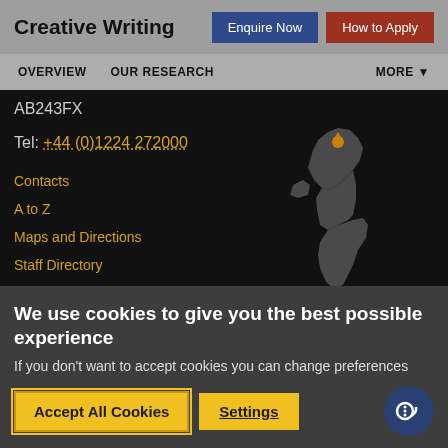Creative Writing
Enquire Now | How to Apply
OVERVIEW  OUR RESEARCH  MORE
AB243FX
Tel: +44 (0)1224 272000
Contacts
A to Z
Maps and Directions
Staff Directory
[Figure (map): Map of the United Kingdom shown in dark grey on black background, with a location pin marker near the top of Scotland.]
We use cookies to give you the best possible experience
If you don't want to accept cookies you can change preferences
Accept All Cookies
Settings